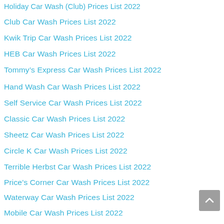Holiday Car Wash (Club) Prices List 2022
Club Car Wash Prices List 2022
Kwik Trip Car Wash Prices List 2022
HEB Car Wash Prices List 2022
Tommy's Express Car Wash Prices List 2022
Hand Wash Car Wash Prices List 2022
Self Service Car Wash Prices List 2022
Classic Car Wash Prices List 2022
Sheetz Car Wash Prices List 2022
Circle K Car Wash Prices List 2022
Terrible Herbst Car Wash Prices List 2022
Price's Corner Car Wash Prices List 2022
Waterway Car Wash Prices List 2022
Mobile Car Wash Prices List 2022